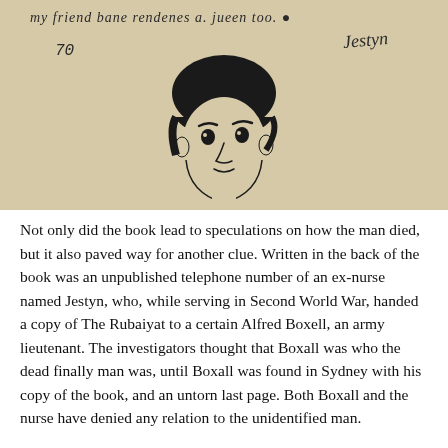[Figure (photo): A photograph of an aged book page with handwritten text at the top reading 'my friend bane rendenes a. jueen too.' with the number '70' below it and a cursive signature 'Jestyn' on the right. Below is a black ink sketch/illustration of a young person wearing a dark cap, facing slightly to the right.]
Not only did the book lead to speculations on how the man died, but it also paved way for another clue. Written in the back of the book was an unpublished telephone number of an ex-nurse named Jestyn, who, while serving in Second World War, handed a copy of The Rubaiyat to a certain Alfred Boxell, an army lieutenant. The investigators thought that Boxall was who the dead finally man was, until Boxall was found in Sydney with his copy of the book, and an untorn last page. Both Boxall and the nurse have denied any relation to the unidentified man.